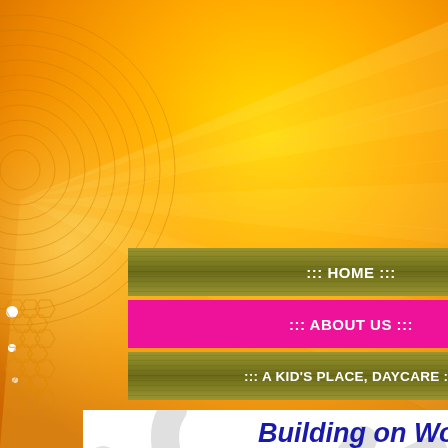[Figure (screenshot): Website screenshot with orange gradient background, navigation menu buttons (HOME, ABOUT US, A KID'S PLACE DAYCARE, EVENTS, AN OPEN LETTER, DIRECTIONS), and white content area with 'Building on Wor...' heading and grey tree branch watermark]
::: HOME :::
::: ABOUT US :::
::: A KID'S PLACE, DAYCARE :::
::: EVENTS :::
::: AN OPEN LETTER :::
::: DIRECTIONS :::
Building on Wor